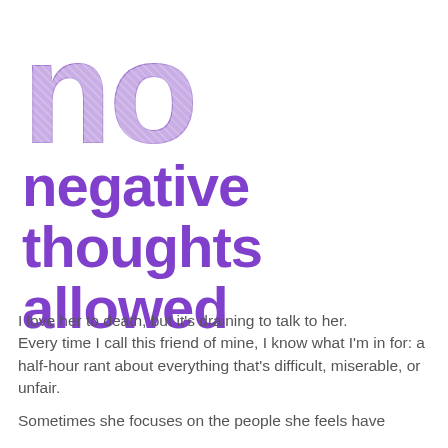no negative thoughts allowed
I love her to death, but it's draining to talk to her. Every time I call this friend of mine, I know what I'm in for: a half-hour rant about everything that's difficult, miserable, or unfair.
Sometimes she focuses on the people she feels have